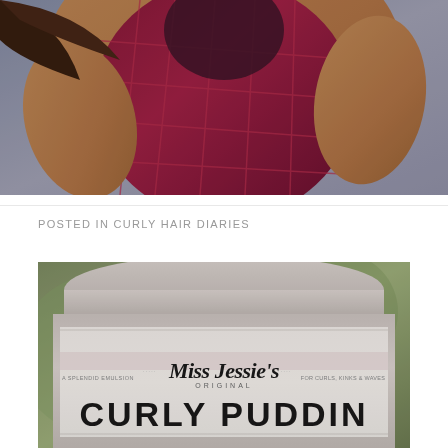[Figure (photo): Close-up photo of a woman wearing a dark red/maroon mesh patterned bodysuit or top, shot from above against a stone/concrete background. The image shows the torso and arms of the subject.]
POSTED IN CURLY HAIR DIARIES
[Figure (photo): Close-up photo of a jar of Miss Jessie's Original Curly Pudding hair product. The label reads 'Miss Jessie's ORIGINAL', 'A SPLENDID EMULSION', 'FOR CURLS, KINKS & WAVES', and 'CURLY PUDDING' in large bold letters at the bottom. The jar sits on what appears to be a textured green/grey surface.]